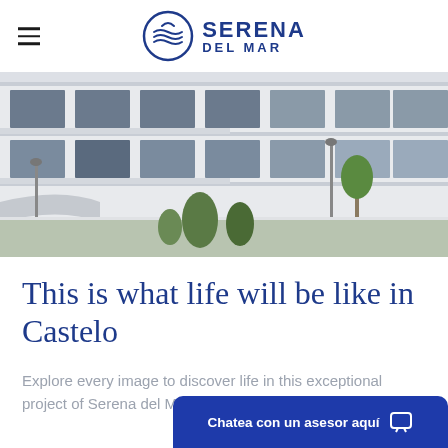[Figure (logo): Serena Del Mar logo with circular wave emblem and blue text reading SERENA DEL MAR]
[Figure (photo): Exterior rendering of a modern multi-story residential building with white facades, large glass windows, balconies, greenery and landscaping in foreground]
This is what life will be like in Castelo
Explore every image to discover life in this exceptional project of Serena del Mar.
Chatea con un asesor aquí